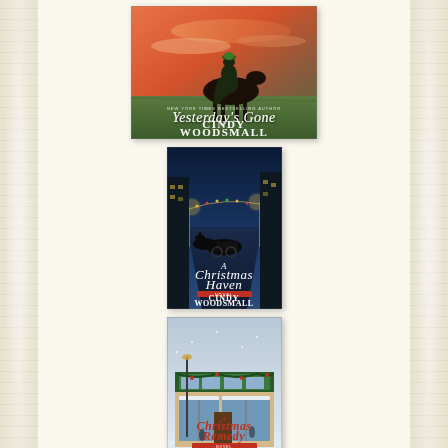[Figure (illustration): Book cover of 'Yesterday's Gone' by Cindy Woodsmall & Erin Woodsmall. Shows a figure on horseback against a dramatic sunset sky with green and orange hues. White serif title text 'Yesterday's Gone' and author names below.]
[Figure (illustration): Book cover of 'A Christmas Haven' by Cindy Woodsmall & Erin Woodsmall. Dark blue night scene with lit street, horse-drawn carriage. White script title and red/white author name block.]
[Figure (illustration): Book cover of 'Christmas Remedy' by Cindy Woodsmall & Erin Woodsmall. Snowy street scene with storefronts decorated in green Christmas garland. Red cursive title text and author names.]